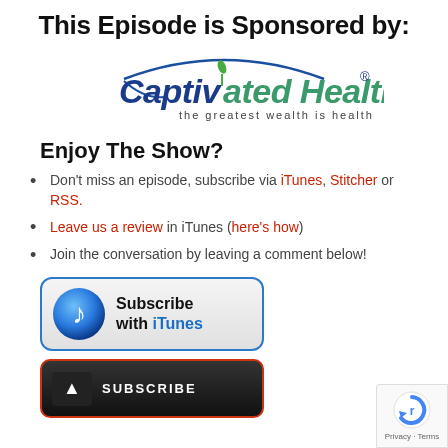This Episode is Sponsored by:
[Figure (logo): CaptivAted Health logo with tagline 'the greatest wealth is health']
Enjoy The Show?
Don't miss an episode, subscribe via iTunes, Stitcher or RSS.
Leave us a review in iTunes (here's how)
Join the conversation by leaving a comment below!
[Figure (screenshot): Subscribe with iTunes button - rounded rectangle with iTunes music note icon]
[Figure (screenshot): Subscribe button (second, partial, red border, dark background)]